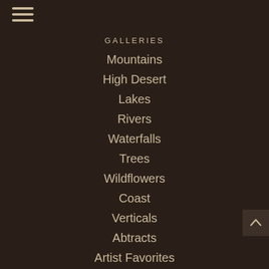GALLERIES
Mountains
High Desert
Lakes
Rivers
Waterfalls
Trees
Wildflowers
Coast
Verticals
Abtracts
Artist Favorites
Panoramas
Calendars
Metal Desk Top Prints
Oregon Greeting Cards